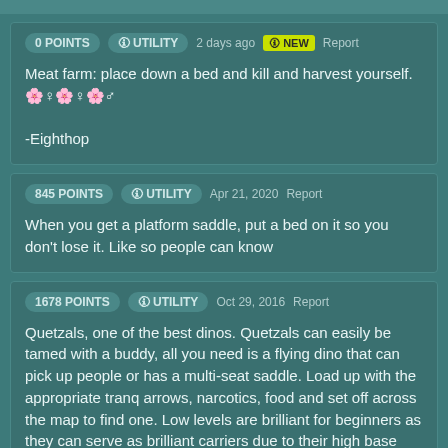0 POINTS  UTILITY  2 days ago  NEW  Report
Meat farm: place down a bed and kill and harvest yourself.🌸♀🌸♀🌸♂
-Eighthop
845 POINTS  UTILITY  Apr 21, 2020  Report
When you get a platform saddle, put a bed on it so you don't lose it. Like so people can know
1678 POINTS  UTILITY  Oct 29, 2016  Report
Quetzals, one of the best dinos. Quetzals can easily be tamed with a buddy, all you need is a flying dino that can pick up people or has a multi-seat saddle. Load up with the appropriate tranq arrows, narcotics, food and set off across the map to find one. Low levels are brilliant for beginners as they can serve as brilliant carriers due to their high base weight stat. Higher levels however mainly are used as "Battle Quetzals", alongside the high stats it will receive from being tamed, pumping health and melee damage is the way to go. With that being said you'll be able